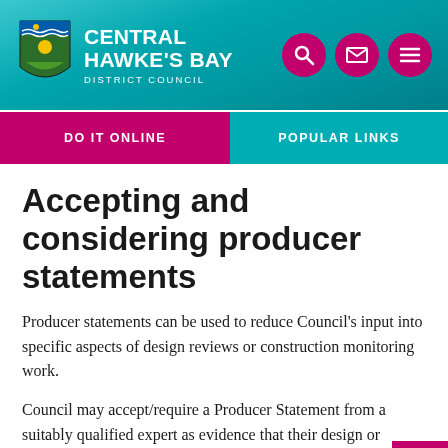[Figure (logo): Central Hawke's Bay District Council logo with crest and text]
CENTRAL HAWKE'S BAY DISTRICT COUNCIL
DO IT ONLINE
POPULAR LINKS
Accepting and considering producer statements
Producer statements can be used to reduce Council's input into specific aspects of design reviews or construction monitoring work.
Council may accept/require a Producer Statement from a suitably qualified expert as evidence that their design or building work complies or will comply with the New Zealand Building Code. The content of the statements